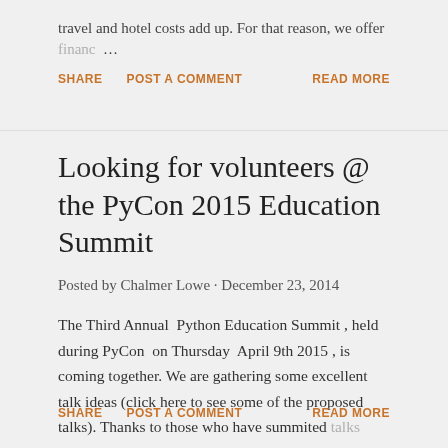travel and hotel costs add up. For that reason, we offer financ …
SHARE   POST A COMMENT   READ MORE
Looking for volunteers @ the PyCon 2015 Education Summit
Posted by Chalmer Lowe · December 23, 2014
The Third Annual  Python Education Summit , held during PyCon  on Thursday  April 9th 2015 , is coming together. We are gathering some excellent talk ideas (click here to see some of the proposed talks). Thanks to those who have summited talks so …
SHARE   POST A COMMENT   READ MORE